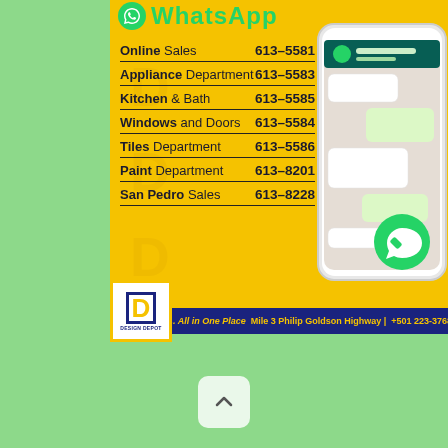[Figure (infographic): WhatsApp contact directory advertisement for Design Depot showing department phone numbers on yellow background with smartphone image]
Online Sales  613-5581
Appliance Department  613-5583
Kitchen & Bath  613-5585
Windows and Doors  613-5584
Tiles Department  613-5586
Paint Department  613-8201
San Pedro Sales  613-8228
... All in One Place  Mile 3 Philip Goldson Highway | +501 223-3768 | www.de...